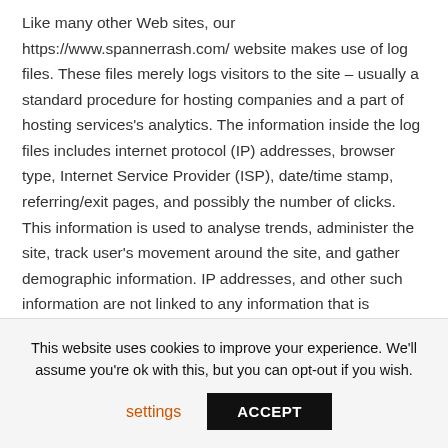Like many other Web sites, our https://www.spannerrash.com/ website makes use of log files. These files merely logs visitors to the site – usually a standard procedure for hosting companies and a part of hosting services's analytics. The information inside the log files includes internet protocol (IP) addresses, browser type, Internet Service Provider (ISP), date/time stamp, referring/exit pages, and possibly the number of clicks. This information is used to analyse trends, administer the site, track user's movement around the site, and gather demographic information. IP addresses, and other such information are not linked to any information that is personally identifiable.
Cookies and Web Beacons
This website uses cookies to improve your experience. We'll assume you're ok with this, but you can opt-out if you wish.